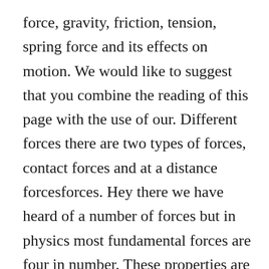force, gravity, friction, tension, spring force and its effects on motion. We would like to suggest that you combine the reading of this page with the use of our. Different forces there are two types of forces, contact forces and at a distance forcesforces. Hey there we have heard of a number of forces but in physics most fundamental forces are four in number. These properties are quantified in a number characteristic of the spring called the spring constant k. Electromagnetism and weak nuclear forces have shown that at high